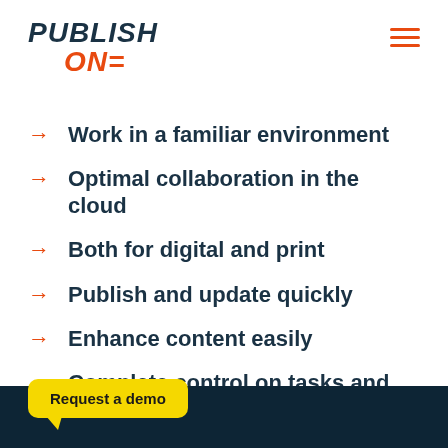[Figure (logo): Publish ONE logo — 'PUBLISH' in dark navy italic bold, 'ONE' in orange italic bold below and indented]
Work in a familiar environment
Optimal collaboration in the cloud
Both for digital and print
Publish and update quickly
Enhance content easily
Complete control on tasks and user rights
Request a demo